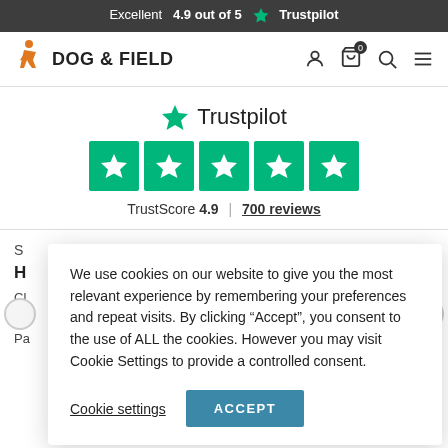Excellent  4.9 out of 5  ★ Trustpilot
[Figure (logo): Dog & Field brand logo with orange hunter figure and bold text DOG & FIELD, plus navigation icons (user, cart with 0 badge, search, menu)]
[Figure (infographic): Trustpilot rating section showing green star logo, Trustpilot text, five green star rating boxes, TrustScore 4.9 | 700 reviews]
S
H
Cl
w
Pa
We use cookies on our website to give you the most relevant experience by remembering your preferences and repeat visits. By clicking “Accept”, you consent to the use of ALL the cookies. However you may visit Cookie Settings to provide a controlled consent.
Cookie settings
ACCEPT